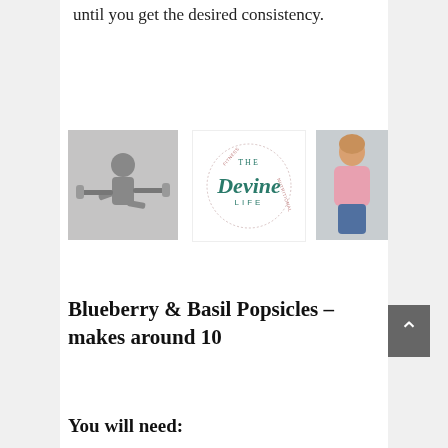until you get the desired consistency.
[Figure (photo): Black and white photo of a woman exercising/lifting weights in a gym]
[Figure (logo): The Devine Life logo in teal/green script font with decorative circular text]
[Figure (photo): Photo of a woman in a pink sweater sitting casually]
Blueberry & Basil Popsicles – makes around 10
You will need: